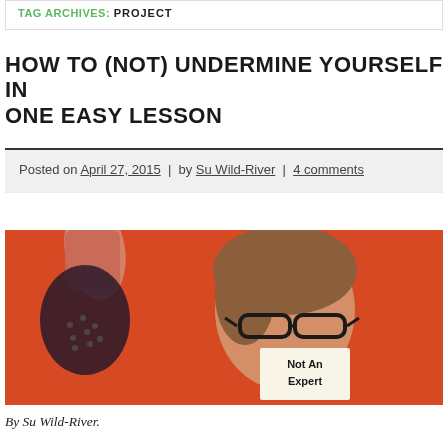TAG ARCHIVES: PROJECT
HOW TO (NOT) UNDERMINE YOURSELF IN ONE EASY LESSON
Posted on April 27, 2015 | by Su Wild-River | 4 comments
[Figure (photo): Person holding one arm raised, wearing glasses and dark-rimmed glasses, with a paper sign covering their mouth reading 'Not An Expert', against an orange/red background]
By Su Wild-River.
Today I started a new project with three first-time